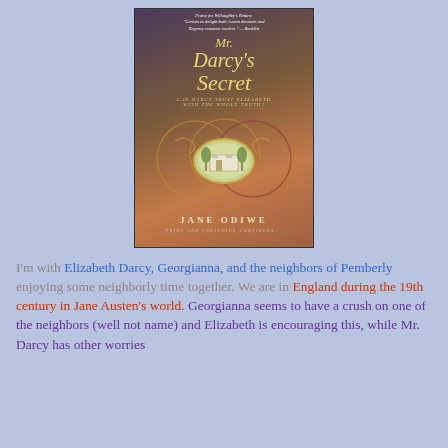[Figure (illustration): Book cover for 'Mr. Darcy's Secret' by Jane Odiwe. Cover features a Regency-era woman in white dress. Title text reads 'Mr. Darcy's Secret' in gold italic script. Subtitle 'Can Darcy Trust Elizabeth with the Whole Truth?' Oval vignette of a country house (Pemberley). Author name Jane Odiwe. Series: Pride and Prejudice Continues. Praise quote at top.]
I'm with Elizabeth Darcy, Georgianna, and the neighbors of Pemberly enjoying some neighborly time together. We are in England during the 19th century in Jane Austen's world. Georgianna seems to have a crush on one of the neighbors (well not name) and Elizabeth is encouraging this, while Mr. Darcy has other worries [text continues]